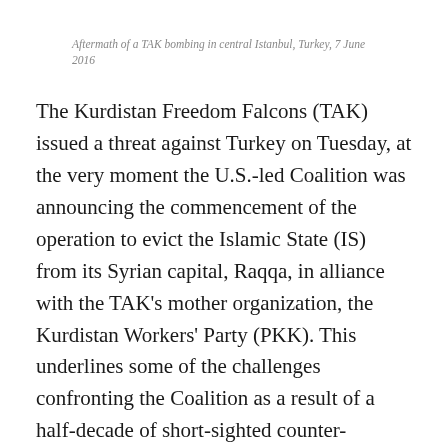Aftermath of a TAK bombing in central Istanbul, Turkey, 7 June 2016
The Kurdistan Freedom Falcons (TAK) issued a threat against Turkey on Tuesday, at the very moment the U.S.-led Coalition was announcing the commencement of the operation to evict the Islamic State (IS) from its Syrian capital, Raqqa, in alliance with the TAK's mother organization, the Kurdistan Workers' Party (PKK). This underlines some of the challenges confronting the Coalition as a result of a half-decade of short-sighted counter-terrorism policy in Syria and a regional posture that tilted away from traditional allies. Continue reading →
This entry was posted in PKK and tagged Abdullah Ocalan, Bahoz Erdal,